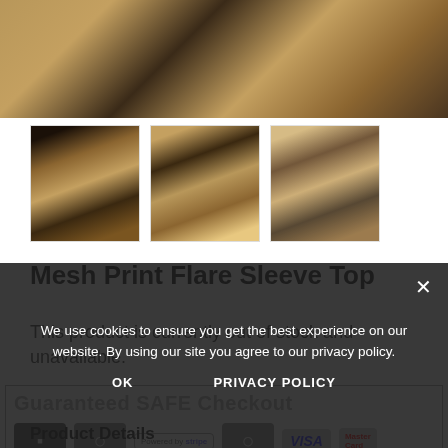[Figure (photo): Main product photo strip showing mesh/lace flare sleeve top with black and gold pattern, two people visible, cropped at top]
[Figure (photo): Three thumbnail images of the Mesh Print Flare Sleeve Top worn by a person, showing different angles]
Mesh Print Flare Sleeve Top
This product is currently out of stock and unavailable
[Figure (infographic): Guaranteed SAFE Checkout banner with payment icons: Stripe, Visa, MasterCard, Discover, and AES encryption badge]
We use cookies to ensure you get the best experience on our website. By using our site you agree to our privacy policy.
OK    PRIVACY POLICY
Product Details